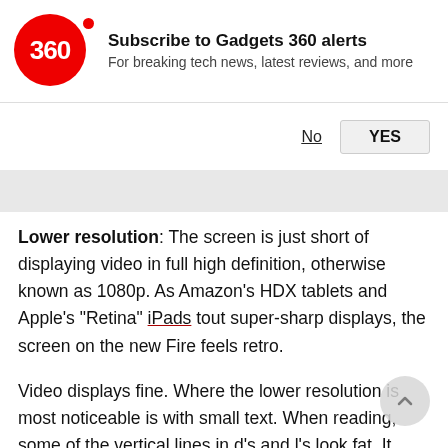[Figure (logo): Gadgets 360 logo — red circle with '360' in white text and a red dot, followed by subscribe notification text and Yes/No buttons]
Lower resolution: The screen is just short of displaying video in full high definition, otherwise known as 1080p. As Amazon's HDX tablets and Apple's "Retina" iPads tout super-sharp displays, the screen on the new Fire feels retro.
Video displays fine. Where the lower resolution is most noticeable is with small text. When reading, some of the vertical lines in d's and l's look fat. It feels like a typewriter with metal type that hasn't been cleaned of gunk, forming misshaped letters when some of that